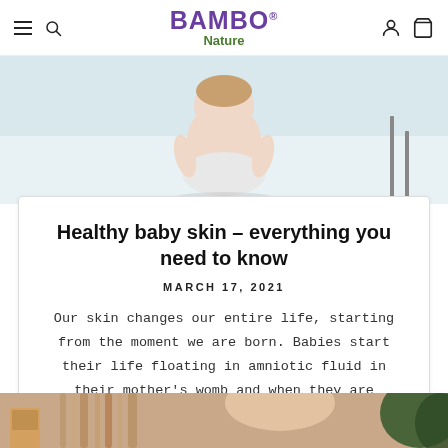BAMBO® Nature — navigation bar with hamburger menu, search icon, user icon, and cart icon
[Figure (photo): Baby in a diaper crawling or sitting on a light-colored floor, seen from behind, cropped view]
Healthy baby skin – everything you need to know
MARCH 17, 2021
Our skin changes our entire life, starting from the moment we are born. Babies start their life floating in amniotic fluid in their mother's womb and when they are born,...
[Figure (photo): Partial view of a person with long hair, bottom of page, cropped]